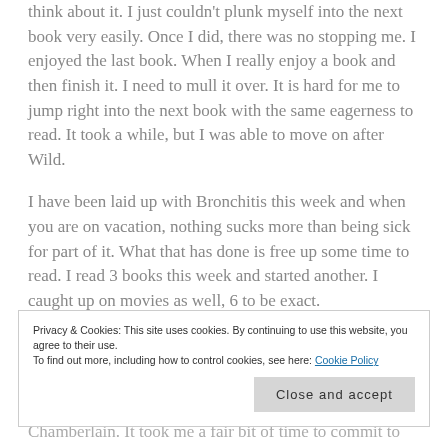think about it. I just couldn't plunk myself into the next book very easily. Once I did, there was no stopping me. I enjoyed the last book. When I really enjoy a book and then finish it. I need to mull it over. It is hard for me to jump right into the next book with the same eagerness to read. It took a while, but I was able to move on after Wild.
I have been laid up with Bronchitis this week and when you are on vacation, nothing sucks more than being sick for part of it. What that has done is free up some time to read. I read 3 books this week and started another. I caught up on movies as well, 6 to be exact.
Privacy & Cookies: This site uses cookies. By continuing to use this website, you agree to their use. To find out more, including how to control cookies, see here: Cookie Policy
Close and accept
Chamberlain. It took me a fair bit of time to commit to